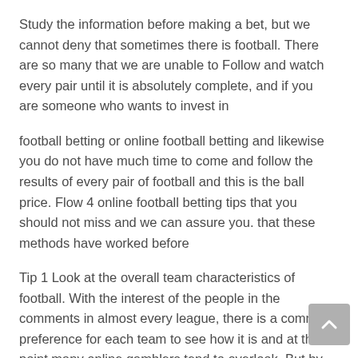Study the information before making a bet, but we cannot deny that sometimes there is football. There are so many that we are unable to Follow and watch every pair until it is absolutely complete, and if you are someone who wants to invest in
football betting or online football betting and likewise you do not have much time to come and follow the results of every pair of football and this is the ball price. Flow 4 online football betting tips that you should not miss and we can assure you. that these methods have worked before
Tip 1 Look at the overall team characteristics of football. With the interest of the people in the comments in almost every league, there is a common preference for each team to see how it is and at this point many online gamblers tend to overlook. But by studying the form of placing the team as a whole, or including the history of